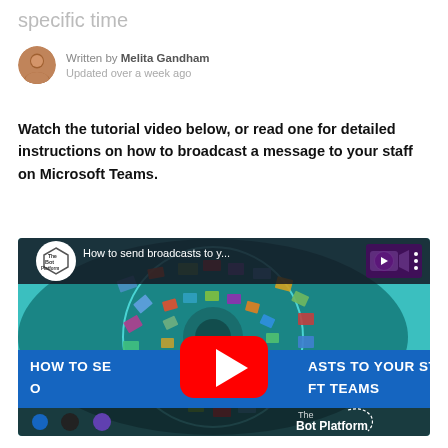specific time
Written by Melita Gandham
Updated over a week ago
Watch the tutorial video below, or read one for detailed instructions on how to broadcast a message to your staff on Microsoft Teams.
[Figure (screenshot): YouTube video thumbnail showing 'How to send broadcasts to y...' by The Bot Platform, with a play button overlay and text 'HOW TO SEND BROADCASTS TO YOUR STAFF ON MICROSOFT TEAMS']